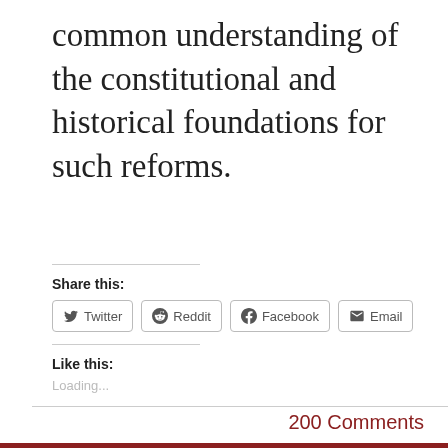common understanding of the constitutional and historical foundations for such reforms.
Share this:
Twitter  Reddit  Facebook  Email
Like this:
Loading...
200 Comments